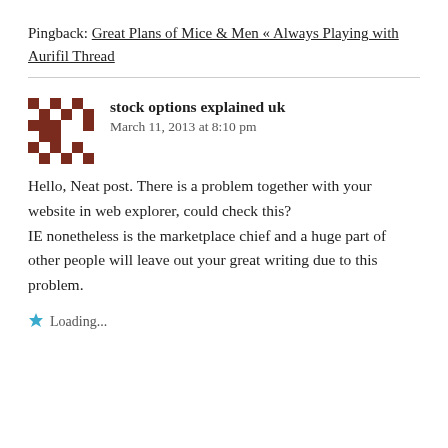Pingback: Great Plans of Mice & Men « Always Playing with Aurifil Thread
stock options explained uk
March 11, 2013 at 8:10 pm
Hello, Neat post. There is a problem together with your website in web explorer, could check this? IE nonetheless is the marketplace chief and a huge part of other people will leave out your great writing due to this problem.
Loading...